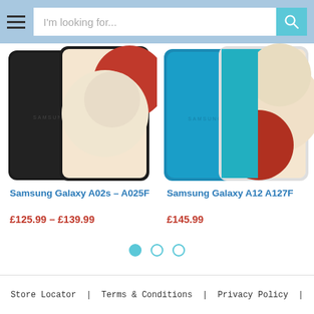I'm looking for...
[Figure (photo): Samsung Galaxy A02s A025F smartphone shown in black color from back and front views]
Samsung Galaxy A02s – A025F
£125.99 – £139.99
[Figure (photo): Samsung Galaxy A12 A127F smartphone shown in blue color from back and front views]
Samsung Galaxy A12 A127F
£145.99
Store Locator | Terms & Conditions | Privacy Policy |